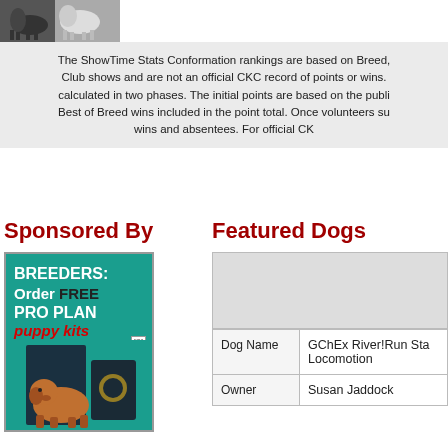[Figure (photo): Small thumbnail photo at top left, appears to show a dog or animal]
The ShowTime Stats Conformation rankings are based on Breed, Club shows and are not an official CKC record of points or wins. calculated in two phases. The initial points are based on the publi Best of Breed wins included in the point total. Once volunteers su wins and absentees. For official CK
Sponsored By
[Figure (infographic): Teal/green advertisement for Pro Plan puppy kits. Text reads: BREEDERS: Order FREE PRO PLAN puppy kits. Shows image of a Rhodesian Ridgeback dog with a bag of Pro Plan dog food.]
Featured Dogs
| Dog Name | GChEx River!Run Sta Locomotion |
| --- | --- |
| Owner | Susan Jaddock |